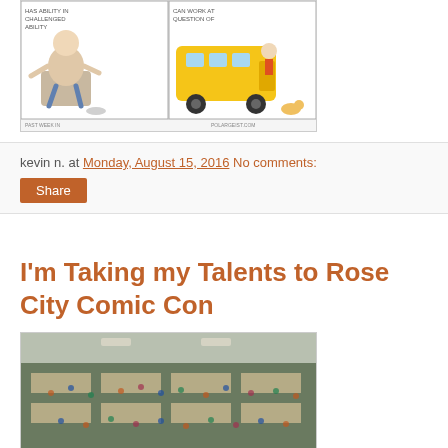[Figure (illustration): Comic strip showing two panels: left panel with a person sitting in a chair, right panel with a school bus and people outside it]
kevin n. at Monday, August 15, 2016   No comments:
Share
I'm Taking my Talents to Rose City Comic Con
[Figure (photo): Aerial/overhead photo of a crowded convention hall floor with booths, tables, and many attendees]